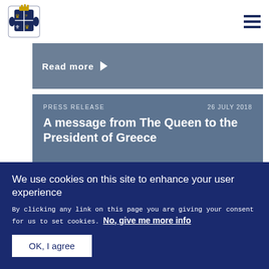[Figure (logo): UK Royal coat of arms / government logo in dark blue]
Read more ▶
PRESS RELEASE    26 JULY 2018
A message from The Queen to the President of Greece
Read more ▶
We use cookies on this site to enhance your user experience
By clicking any link on this page you are giving your consent for us to set cookies. No, give me more info
OK, I agree